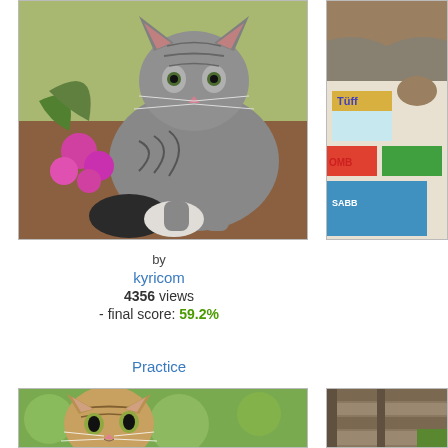[Figure (photo): Gray tabby cat sitting on a wooden surface next to pink flowers (orchids), a dark rock, and a white stone, with green foliage in the background]
[Figure (photo): Partial photo on right side showing a cat near colorful book/magazine covers including one labeled 'BOMB' and a blue book labeled 'SABB']
by
kyricom
4356 views
- final score: 59.2%
Practice
[Figure (photo): Close-up of a tabby kitten outdoors with green foliage background, looking sideways]
[Figure (photo): Partial right photo showing wooden structure/steps]